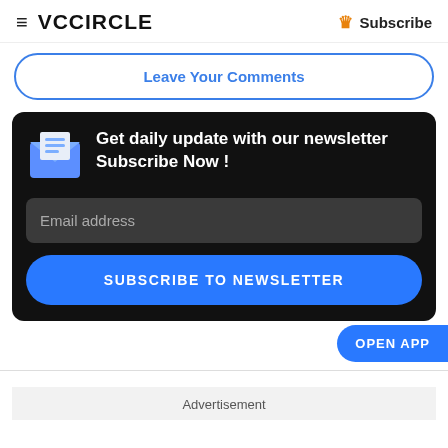VCCiRCLE  Subscribe
Leave Your Comments
[Figure (other): Newsletter subscription block with email icon, headline 'Get daily update with our newsletter Subscribe Now!', email address input field, and 'SUBSCRIBE TO NEWSLETTER' button on black background]
OPEN APP
Advertisement